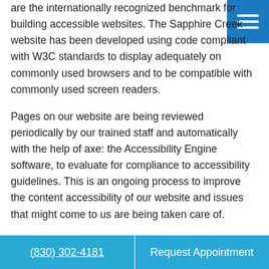Accessibility Guidelines 2.0 (WCAG 2.0). These guidelines are the internationally recognized benchmark for building accessible websites. The Sapphire Creek website has been developed using code compliant with W3C standards to display adequately on commonly used browsers and to be compatible with commonly used screen readers.
[Figure (other): Blue square hamburger/menu button with three white horizontal lines, positioned top-right corner]
Pages on our website are being reviewed periodically by our trained staff and automatically with the help of axe: the Accessibility Engine software, to evaluate for compliance to accessibility guidelines. This is an ongoing process to improve the content accessibility of our website and issues that might come to us are being taken care of.
(830) 302-4181    Request Appointment